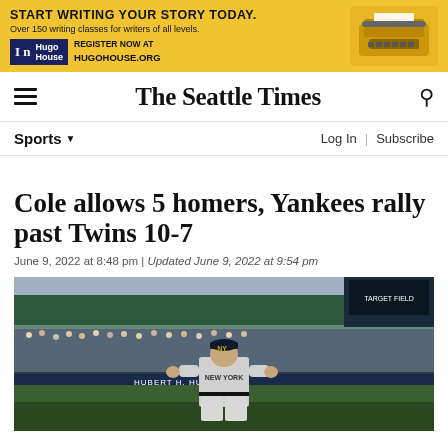[Figure (illustration): Hugo House advertisement banner: yellow background with typewriter image. Text: 'START WRITING YOUR STORY TODAY. Over 150 writing classes for writers of all levels. Hugo House. REGISTER NOW AT HUGOHOUSE.ORG']
The Seattle Times
Sports ▾
Log In | Subscribe
Cole allows 5 homers, Yankees rally past Twins 10-7
June 9, 2022 at 8:48 pm | Updated June 9, 2022 at 9:54 pm
[Figure (photo): A New York Yankees pitcher in gray New York uniform standing on the field at Target Field with a large crowd of fans in the background in the stadium stands.]